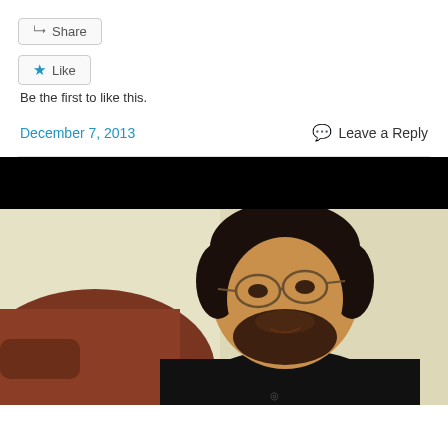Share
Like
Be the first to like this.
December 7, 2013
Leave a Reply
[Figure (photo): A man with glasses and a beard wearing a black shirt, sitting in a dark red leather chair against a beige/cream wall background. Black letterbox bar at top of video frame.]